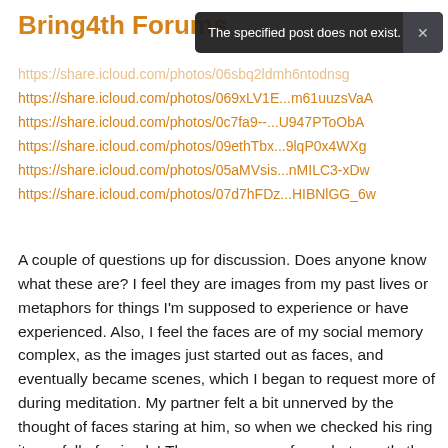Bring4th Forums
The specified post does not exist.
https://share.icloud.com/photos/06sbq2ldmh6ntodnsg
https://share.icloud.com/photos/069xLV1E...m61uuzsVaA
https://share.icloud.com/photos/0c7fa9--...U947PToObA
https://share.icloud.com/photos/09ethTbx...9lqP0x4WXg
https://share.icloud.com/photos/05aMVsis...nMILC3-xDw
https://share.icloud.com/photos/07d7hFDz...HIBNlGG_6w
A couple of questions up for discussion. Does anyone know what these are? I feel they are images from my past lives or metaphors for things I'm supposed to experience or have experienced. Also, I feel the faces are of my social memory complex, as the images just started out as faces, and eventually became scenes, which I began to request more of during meditation. My partner felt a bit unnerved by the thought of faces staring at him, so when we checked his ring it was full of animals! There were some faces but mostly they presented themselves as animals, and even my partner was not surprised that the first animal I saw was an